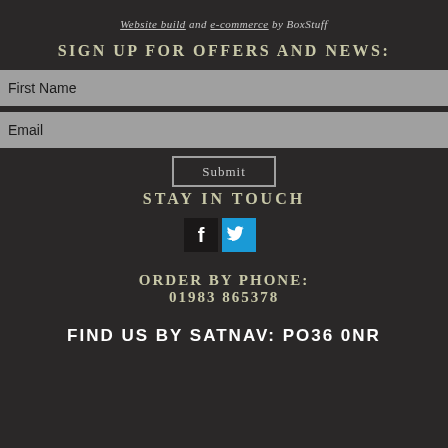Website build and e-commerce by BoxStuff
SIGN UP FOR OFFERS AND NEWS:
First Name
Email
Submit
STAY IN TOUCH
[Figure (other): Facebook and Twitter social media icons]
ORDER BY PHONE:
01983 865378
FIND US BY SATNAV: PO36 0NR